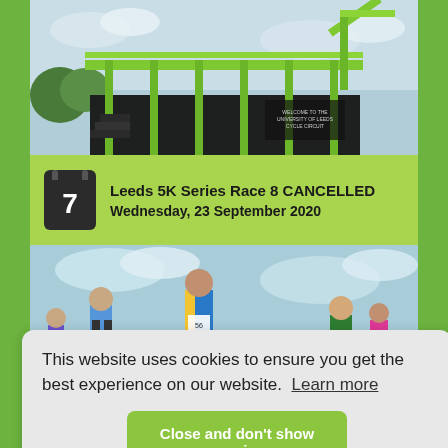[Figure (photo): Green metal footbridge/stairway structure with sign reading 'Welcome to the University of Leeds Cycle Circuit', against a cloudy sky]
Leeds 5K Series Race 8 CANCELLED
Wednesday, 23 September 2020
[Figure (photo): Runners racing outdoors against a blue sky, lead runner is a woman in blue and yellow vest with number 56]
This website uses cookies to ensure you get the best experience on our website. Learn more
Close and don't show again
[Figure (photo): Partial view of another running event photo at the bottom of the page]